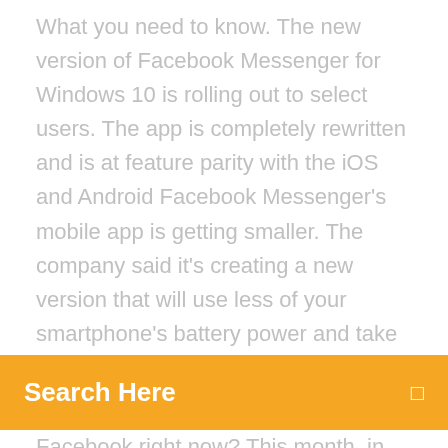What you need to know. The new version of Facebook Messenger for Windows 10 is rolling out to select users. The app is completely rewritten and is at feature parity with the iOS and Android Facebook Messenger's mobile app is getting smaller. The company said it's creating a new version that will use less of your smartphone's battery power and take up less
Search Here
Facebook right now? This month, in particular, we're seeing some great new tools that can be a direct benefit to businesses, allowing business owners and marketers to use the platform in new ways to better connect with and serve our target audience. Facebook Messenger Free & Safe Download! Facebook Messenger Latest Version! Works with All Windows versions; Users choice! Disclaimer. Facebook Messenger is a product developed by Facebook. This site is not directly affiliated with Facebook. All trademarks, registered trademarks, product names and company names or logos mentioned herein